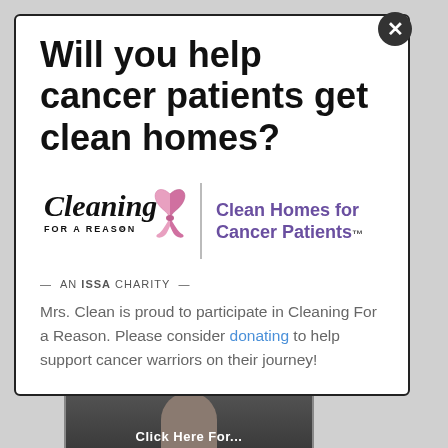Will you help cancer patients get clean homes?
[Figure (logo): Cleaning For A Reason logo with pink ribbon and text 'Clean Homes for Cancer Patients™ — AN ISSA CHARITY —']
Mrs. Clean is proud to participate in Cleaning For a Reason. Please consider donating to help support cancer warriors on their journey!
[Figure (photo): Photo of a person with text 'Click Here For...' at the bottom]